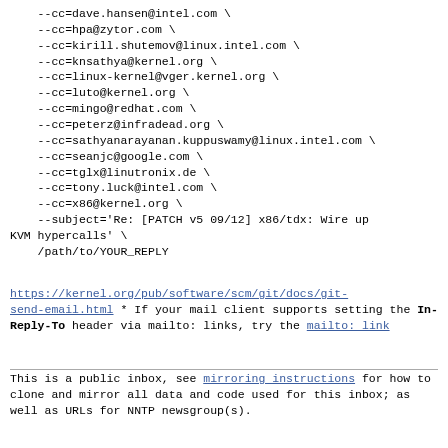--cc=dave.hansen@intel.com \
    --cc=hpa@zytor.com \
    --cc=kirill.shutemov@linux.intel.com \
    --cc=knsathya@kernel.org \
    --cc=linux-kernel@vger.kernel.org \
    --cc=luto@kernel.org \
    --cc=mingo@redhat.com \
    --cc=peterz@infradead.org \
    --cc=sathyanarayanan.kuppuswamy@linux.intel.com \
    --cc=seanjc@google.com \
    --cc=tglx@linutronix.de \
    --cc=tony.luck@intel.com \
    --cc=x86@kernel.org \
    --subject='Re: [PATCH v5 09/12] x86/tdx: Wire up KVM hypercalls' \
    /path/to/YOUR_REPLY
https://kernel.org/pub/software/scm/git/docs/git-send-email.html
* If your mail client supports setting the In-Reply-To header
  via mailto: links, try the mailto: link
This is a public inbox, see mirroring instructions
for how to clone and mirror all data and code used for
this inbox;
as well as URLs for NNTP newsgroup(s).